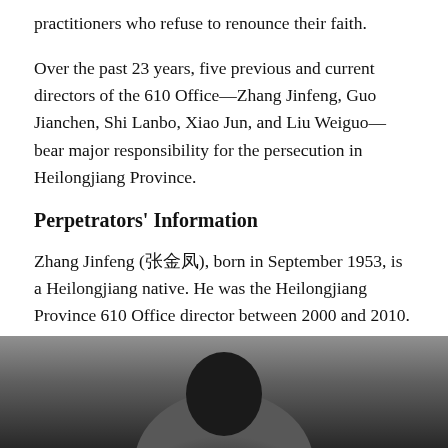practitioners who refuse to renounce their faith.
Over the past 23 years, five previous and current directors of the 610 Office—Zhang Jinfeng, Guo Jianchen, Shi Lanbo, Xiao Jun, and Liu Weiguo—bear major responsibility for the persecution in Heilongjiang Province.
Perpetrators' Information
Zhang Jinfeng (张金凤), born in September 1953, is a Heilongjiang native. He was the Heilongjiang Province 610 Office director between 2000 and 2010.
[Figure (photo): Black and white photograph showing a person, partially visible, bottom portion of the page]